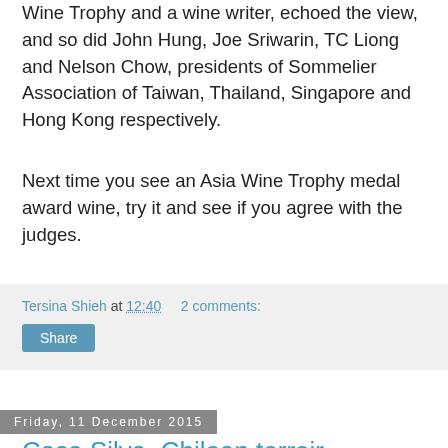Wine Trophy and a wine writer, echoed the view, and so did John Hung, Joe Sriwarin, TC Liong and Nelson Chow, presidents of Sommelier Association of Taiwan, Thailand, Singapore and Hong Kong respectively.
Next time you see an Asia Wine Trophy medal award wine, try it and see if you agree with the judges.
Tersina Shieh at 12:40   2 comments:
Share
Friday, 11 December 2015
Casa Silva, Chilean terroir
At the recent Asia Wine Trophy judging, I learnt that Chilean wine is the rising star in all Asian markets. It was therefore no surprise that Mario Pablo Silva, CEO of Casa Silva, said that in China, Chile is the first wine importing country that cross consumers' minds, and there is a whopping 65% of consumers who associate Chile with wine.